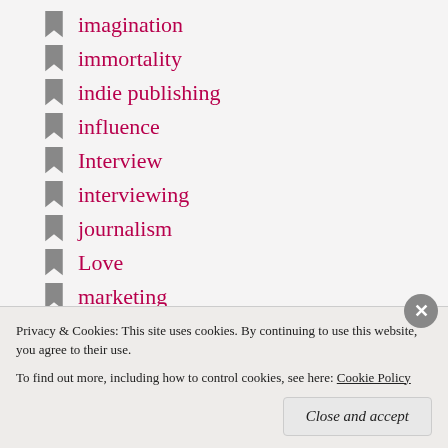imagination
immortality
indie publishing
influence
Interview
interviewing
journalism
Love
marketing
military
miracles
morality
motivation
Privacy & Cookies: This site uses cookies. By continuing to use this website, you agree to their use. To find out more, including how to control cookies, see here: Cookie Policy
Close and accept